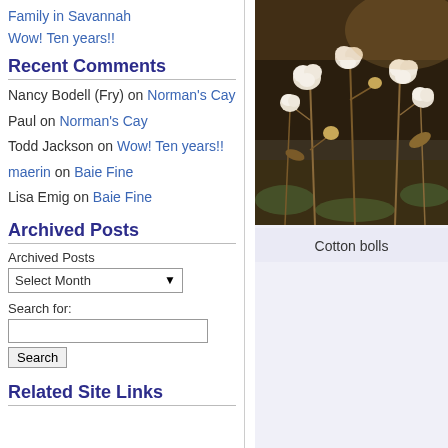Family in Savannah
Wow! Ten years!!
Recent Comments
Nancy Bodell (Fry) on Norman's Cay
Paul on Norman's Cay
Todd Jackson on Wow! Ten years!!
maerin on Baie Fine
Lisa Emig on Baie Fine
Archived Posts
Archived Posts
Select Month
Search for:
Related Site Links
[Figure (photo): Photo of cotton bolls on dry stems against a dark earthy background]
Cotton bolls